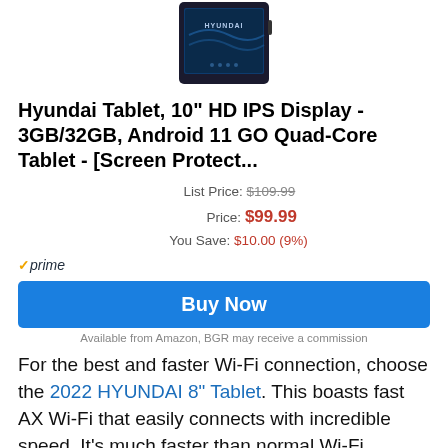[Figure (photo): Hyundai tablet product photo showing a dark tablet with HYUNDAI logo on screen]
Hyundai Tablet, 10" HD IPS Display - 3GB/32GB, Android 11 GO Quad-Core Tablet - [Screen Protect...
List Price: $109.99
Price: $99.99
You Save: $10.00 (9%)
✓prime
Buy Now
Available from Amazon, BGR may receive a commission
For the best and faster Wi-Fi connection, choose the 2022 HYUNDAI 8" Tablet. This boasts fast AX Wi-Fi that easily connects with incredible speed. It's much faster than normal Wi-Fi connections.